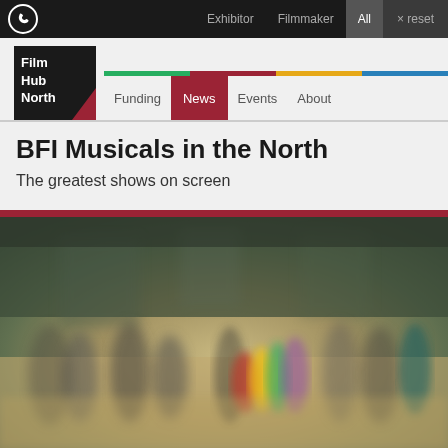Exhibitor | Filmmaker | All | × reset
[Figure (logo): Film Hub North logo — black square with white bold text 'Film Hub North' and a dark red triangle accent]
Funding | News | Events | About
BFI Musicals in the North
The greatest shows on screen
[Figure (photo): Blurred photo of people in colorful costumes on what appears to be a stage or dance floor, with a dark red horizontal bar at the top of the image]